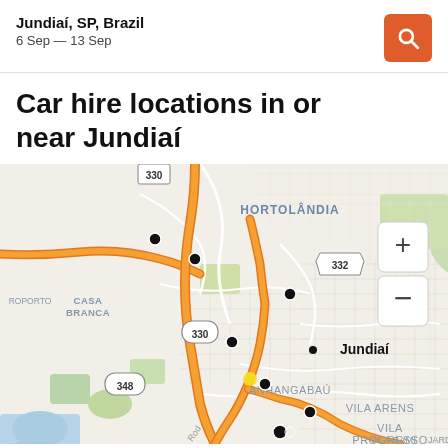Jundiaí, SP, Brazil
6 Sep — 13 Sep
Car hire locations in or near Jundiaí
[Figure (map): Street map of Jundiaí, SP, Brazil and surrounding areas including Hortolândia, Casa Branca, Anhangabaú, Vila Arens, Vila Progresso. Map shows major roads (orange highways), route markers (330, 332, 348), and multiple black pin markers indicating car hire locations. Map includes zoom controls (+/-) in upper right.]